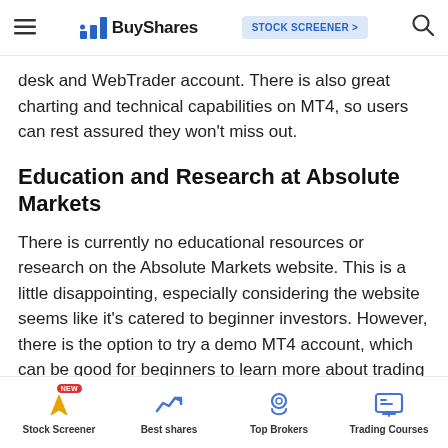BuyShares | STOCK SCREENER >
desk and WebTrader account. There is also great charting and technical capabilities on MT4, so users can rest assured they won't miss out.
Education and Research at Absolute Markets
There is currently no educational resources or research on the Absolute Markets website. This is a little disappointing, especially considering the website seems like it's catered to beginner investors. However, there is the option to try a demo MT4 account, which can be good for beginners to learn more about trading and trading strategies with zero risk. There is also a very extensive FAQ page, which has a dedicated section for
Stock Screener | Best shares | Top Brokers | Trading Courses